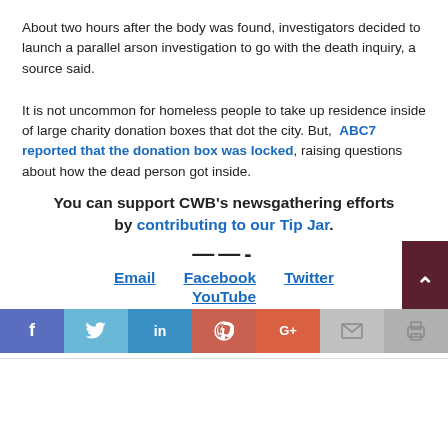About two hours after the body was found, investigators decided to launch a parallel arson investigation to go with the death inquiry, a source said.
It is not uncommon for homeless people to take up residence inside of large charity donation boxes that dot the city. But, ABC7 reported that the donation box was locked, raising questions about how the dead person got inside.
You can support CWB’s newsgathering efforts by contributing to our Tip Jar.
Email   Facebook   Twitter   YouTube
[Figure (infographic): Social media share bar with Facebook, Twitter, LinkedIn, Pinterest, Google+, Email, and Print buttons, plus a scroll-to-top arrow button]